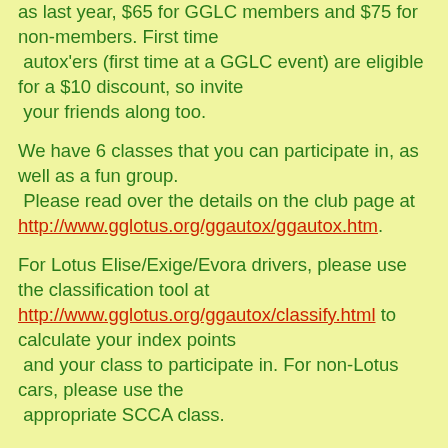as last year, $65 for GGLC members and $75 for non-members. First time autox'ers (first time at a GGLC event) are eligible for a $10 discount, so invite your friends along too.
We have 6 classes that you can participate in, as well as a fun group. Please read over the details on the club page at http://www.gglotus.org/ggautox/ggautox.htm.
For Lotus Elise/Exige/Evora drivers, please use the classification tool at http://www.gglotus.org/ggautox/classify.html to calculate your index points and your class to participate in. For non-Lotus cars, please use the appropriate SCCA class.